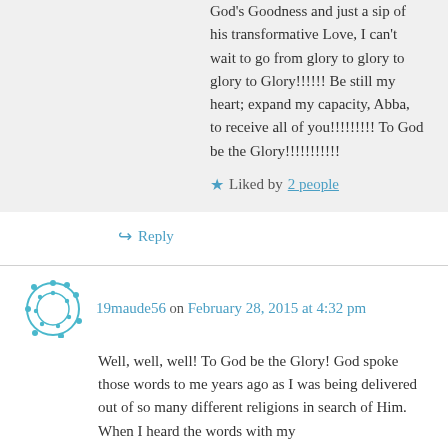God's Goodness and just a sip of his transformative Love, I can't wait to go from glory to glory to glory to Glory!!!!!! Be still my heart; expand my capacity, Abba, to receive all of you!!!!!!!!! To God be the Glory!!!!!!!!!!!!
★ Liked by 2 people
↪ Reply
19maude56 on February 28, 2015 at 4:32 pm
Well, well, well! To God be the Glory! God spoke those words to me years ago as I was being delivered out of so many different religions in search of Him. When I heard the words with my